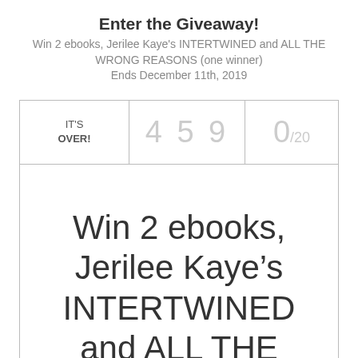Enter the Giveaway!
Win 2 ebooks, Jerilee Kaye's INTERTWINED and ALL THE WRONG REASONS (one winner)
Ends December 11th, 2019
| IT'S OVER! | 459 | 0/20 |
| --- | --- | --- |
Win 2 ebooks, Jerilee Kaye’s INTERTWINED and ALL THE WRONG REASONS (open internationally)